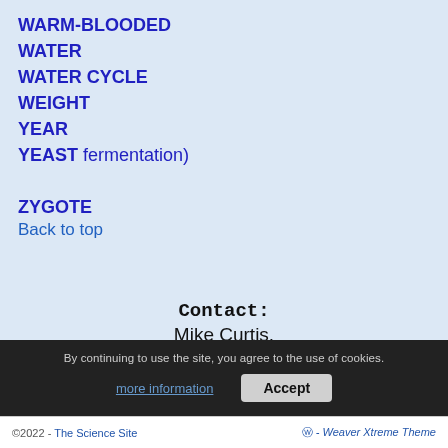WARM-BLOODED
WATER
WATER CYCLE
WEIGHT
YEAR
YEAST fermentation)
ZYGOTE
Back to top
Contact:
Mike Curtis.
email:
mikecurtis@btinternet.com
By continuing to use the site, you agree to the use of cookies.
more information   Accept
©2022 - The Science Site   ⓦ - Weaver Xtreme Theme